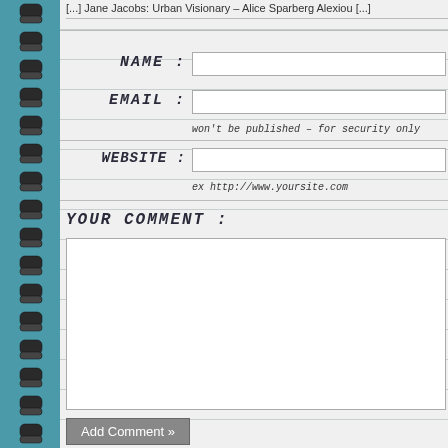[...] Jane Jacobs: Urban Visionary – Alice Sparberg Alexiou [...]
NAME :
EMAIL :
won't be published – for security only
WEBSITE :
ex http://www.yoursite.com
YOUR COMMENT :
Add Comment »